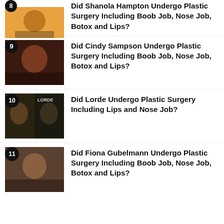Did Shanola Hampton Undergo Plastic Surgery Including Boob Job, Nose Job, Botox and Lips?
Did Cindy Sampson Undergo Plastic Surgery Including Boob Job, Nose Job, Botox and Lips?
Did Lorde Undergo Plastic Surgery Including Lips and Nose Job?
Did Fiona Gubelmann Undergo Plastic Surgery Including Boob Job, Nose Job, Botox and Lips?